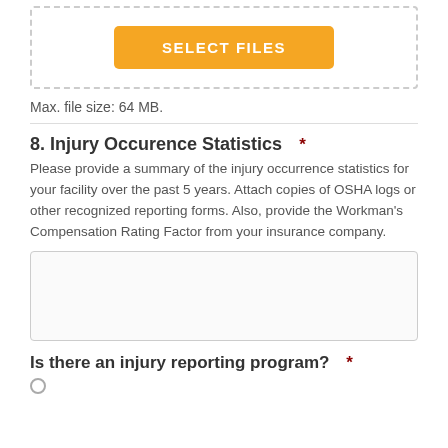[Figure (other): Upload area with orange SELECT FILES button inside a dashed border box]
Max. file size: 64 MB.
8. Injury Occurence Statistics  *
Please provide a summary of the injury occurrence statistics for your facility over the past 5 years. Attach copies of OSHA logs or other recognized reporting forms. Also, provide the Workman's Compensation Rating Factor from your insurance company.
[Figure (other): Empty text area input box for entering injury occurrence statistics]
Is there an injury reporting program?  *
[Figure (other): Radio button option (unchecked)]